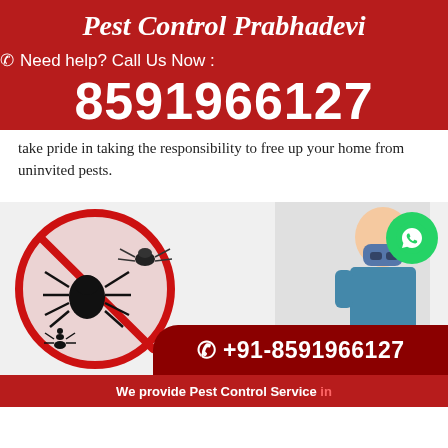Pest Control Prabhadevi
Need help? Call Us Now :
8591966127
take pride in taking the responsibility to free up your home from uninvited pests.
[Figure (infographic): Pest control advertisement image showing insects (spider, bug, ant) inside a red no-sign circle, an exterminator man with protective mask, a WhatsApp button, and a dark red phone number banner reading +91-8591966127]
We provide Pest Control Service in